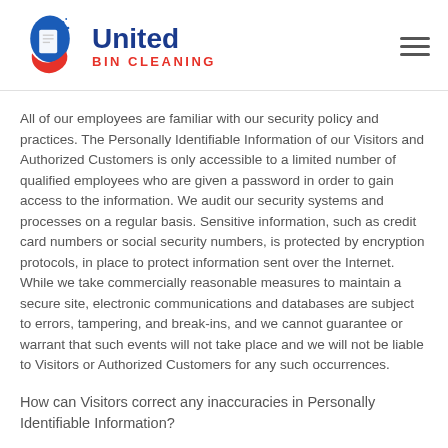[Figure (logo): United Bin Cleaning logo with red and blue water drop/bin icon and company name]
All of our employees are familiar with our security policy and practices. The Personally Identifiable Information of our Visitors and Authorized Customers is only accessible to a limited number of qualified employees who are given a password in order to gain access to the information. We audit our security systems and processes on a regular basis. Sensitive information, such as credit card numbers or social security numbers, is protected by encryption protocols, in place to protect information sent over the Internet. While we take commercially reasonable measures to maintain a secure site, electronic communications and databases are subject to errors, tampering, and break-ins, and we cannot guarantee or warrant that such events will not take place and we will not be liable to Visitors or Authorized Customers for any such occurrences.
How can Visitors correct any inaccuracies in Personally Identifiable Information?
Visitors and Authorized Customers may contact us to